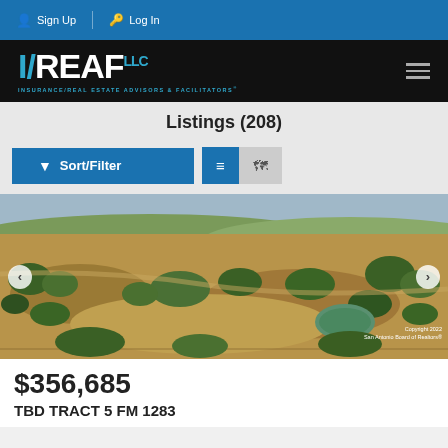Sign Up | Log In
[Figure (logo): IREAF LLC logo — Insurance/Real Estate Advisors & Facilitators — white and teal text on black background]
Listings (208)
Sort/Filter [list view and map view toggle buttons]
[Figure (photo): Aerial drone photograph of a rural Texas property with scrubland, trees, open fields, and a small pond. Copyright 2022 San Antonio Board of Realtors.]
$356,685
TBD TRACT 5 FM 1283